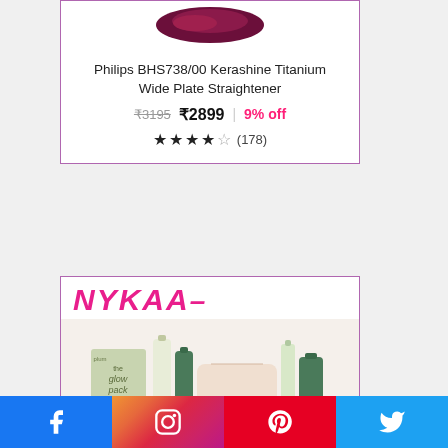[Figure (photo): Philips BHS738/00 Kerashine Titanium Wide Plate Straightener product card with product image (partially visible at top), product name, price (₹3195 strikethrough, ₹2899 new price, 9% off), and star rating 4/5 with 178 reviews. Card has purple border.]
[Figure (photo): Nykaa product card with pink Nykaa logo at top and Plum 'The Glow Pack' product set showing a box and various bottles and a pouch. Card has purple border.]
[Figure (other): Social media share bar at bottom with four buttons: Facebook (blue), Instagram (gradient), Pinterest (red), Twitter (blue)]